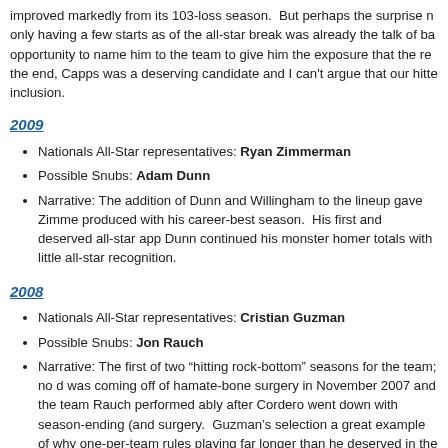improved markedly from its 103-loss season. But perhaps the surprise n only having a few starts as of the all-star break was already the talk of ba opportunity to name him to the team to give him the exposure that the re the end, Capps was a deserving candidate and I can't argue that our hitte inclusion.
2009
Nationals All-Star representatives: Ryan Zimmerman
Possible Snubs: Adam Dunn
Narrative: The addition of Dunn and Willingham to the lineup gave Zimme produced with his career-best season. His first and deserved all-star app Dunn continued his monster homer totals with little all-star recognition.
2008
Nationals All-Star representatives: Cristian Guzman
Possible Snubs: Jon Rauch
Narrative: The first of two “hitting rock-bottom” seasons for the team; no d was coming off of hamate-bone surgery in November 2007 and the team Rauch performed ably after Cordero went down with season-ending (and surgery. Guzman's selection a great example of why one-per-team rules playing far longer than he deserved in the game itself by virtue of the 15-
2007